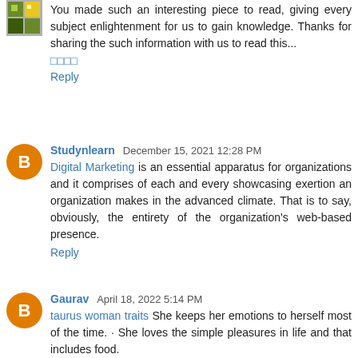[Figure (other): User avatar - pixel art icon with green and yellow squares]
You made such an interesting piece to read, giving every subject enlightenment for us to gain knowledge. Thanks for sharing the such information with us to read this...
□□□□
Reply
[Figure (other): Blogger 'B' orange circle avatar]
Studynlearn December 15, 2021 12:28 PM
Digital Marketing is an essential apparatus for organizations and it comprises of each and every showcasing exertion an organization makes in the advanced climate. That is to say, obviously, the entirety of the organization's web-based presence.
Reply
[Figure (other): Blogger 'B' orange circle avatar]
Gaurav April 18, 2022 5:14 PM
taurus woman traits She keeps her emotions to herself most of the time. · She loves the simple pleasures in life and that includes food.